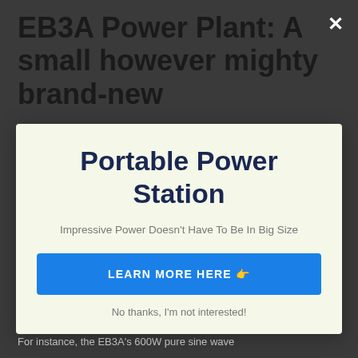EB3A Power Plant: A small however mighty brand-new
[Figure (screenshot): Modal popup with light yellow-green background containing title 'Portable Power Station', subtitle 'Impressive Power Doesn't Have To Be In Big Size', a blue CTA button 'LEARN MORE HERE 👉', and a 'No thanks, I'm not interested!' dismiss link. A close X button appears at top right of the background page.]
more as the "A" in its nomenclature represents its "advanced" innovation.
For instance, the EB3A's 600W pure sine wave